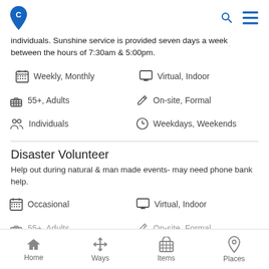App header with logo, search and menu icons
individuals. Sunshine service is provided seven days a week between the hours of 7:30am & 5:00pm.
Weekly, Monthly | Virtual, Indoor
55+, Adults | On-site, Formal
Individuals | Weekdays, Weekends
Disaster Volunteer
Help out during natural & man made events- may need phone bank help.
Occasional | Virtual, Indoor
55+, Adults | On-site, Formal
Home | Ways | Items | Places